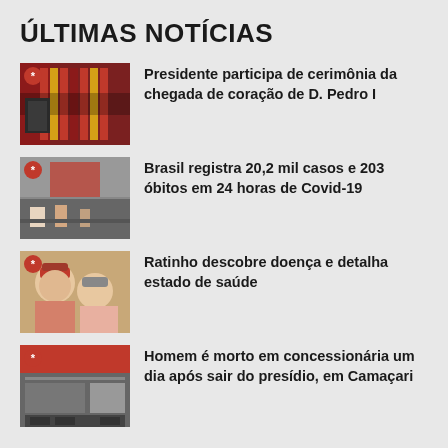ÚLTIMAS NOTÍCIAS
Presidente participa de cerimônia da chegada de coração de D. Pedro I
Brasil registra 20,2 mil casos e 203 óbitos em 24 horas de Covid-19
Ratinho descobre doença e detalha estado de saúde
Homem é morto em concessionária um dia após sair do presídio, em Camaçari